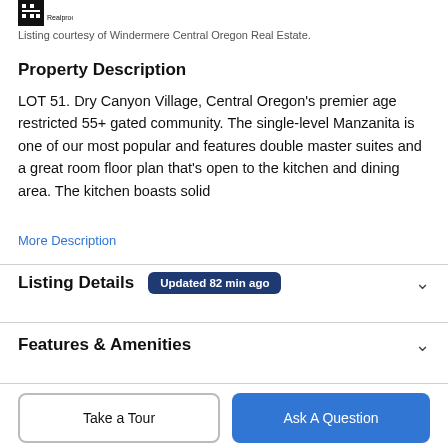[Figure (logo): Realprocy logo — small square pixel-art style logo]
Listing courtesy of Windermere Central Oregon Real Estate.
Property Description
LOT 51. Dry Canyon Village, Central Oregon's premier age restricted 55+ gated community. The single-level Manzanita is one of our most popular and features double master suites and a great room floor plan that's open to the kitchen and dining area. The kitchen boasts solid
More Description
Listing Details
Features & Amenities
Take a Tour
Ask A Question